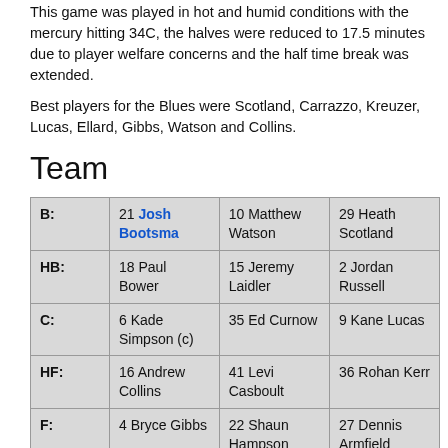This game was played in hot and humid conditions with the mercury hitting 34C, the halves were reduced to 17.5 minutes due to player welfare concerns and the half time break was extended.
Best players for the Blues were Scotland, Carrazzo, Kreuzer, Lucas, Ellard, Gibbs, Watson and Collins.
Team
| Position | Player 1 | Player 2 | Player 3 |
| --- | --- | --- | --- |
| B: | 21 Josh Bootsma | 10 Matthew Watson | 29 Heath Scotland |
| HB: | 18 Paul Bower | 15 Jeremy Laidler | 2 Jordan Russell |
| C: | 6 Kade Simpson (c) | 35 Ed Curnow | 9 Kane Lucas |
| HF: | 16 Andrew Collins | 41 Levi Casboult | 36 Rohan Kerr |
| F: | 4 Bryce Gibbs | 22 Shaun Hampson | 27 Dennis Armfield |
| Ruck: | 8 Matthew Kreuzer | 46 David Ellard | 44 Andrew Carrazzo |
|  |  |  | 38 Jeff Garlett |